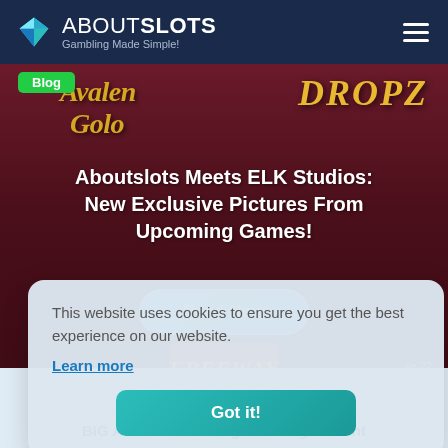ABOUTSLOTS — Gambling Made Simple!
[Figure (illustration): Hero banner showing Avalon Gold and Dropz slot game titles on a dark red background with 'Blog' badge and a Freeway slot machine image]
Aboutslots Meets ELK Studios: New Exclusive Pictures From Upcoming Games!
Read Now
This website uses cookies to ensure you get the best experience on our website.
Learn more
Got it!
BIG And... Sign New Agreement